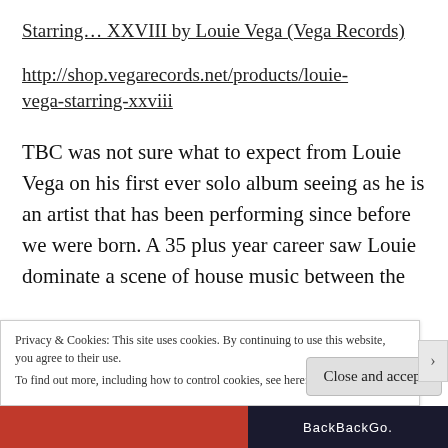Starring… XXVIII by Louie Vega (Vega Records)
http://shop.vegarecords.net/products/louie-vega-starring-xxviii
TBC was not sure what to expect from Louie Vega on his first ever solo album seeing as he is an artist that has been performing since before we were born. A 35 plus year career saw Louie dominate a scene of house music between the
Privacy & Cookies: This site uses cookies. By continuing to use this website, you agree to their use.
To find out more, including how to control cookies, see here: Cookie Policy
Close and accept